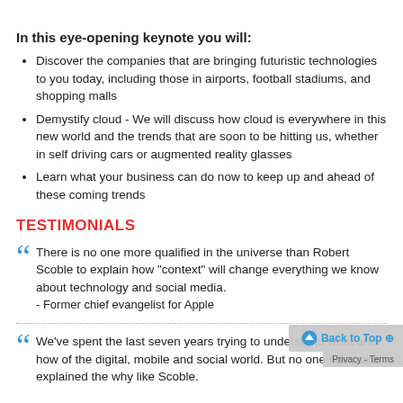In this eye-opening keynote you will:
Discover the companies that are bringing futuristic technologies to you today, including those in airports, football stadiums, and shopping malls
Demystify cloud - We will discuss how cloud is everywhere in this new world and the trends that are soon to be hitting us, whether in self driving cars or augmented reality glasses
Learn what your business can do now to keep up and ahead of these coming trends
TESTIMONIALS
There is no one more qualified in the universe than Robert Scoble to explain how "context" will change everything we know about technology and social media.
- Former chief evangelist for Apple
We've spent the last seven years trying to understand what and how of the digital, mobile and social world. But no one has quite explained the why like Scoble.